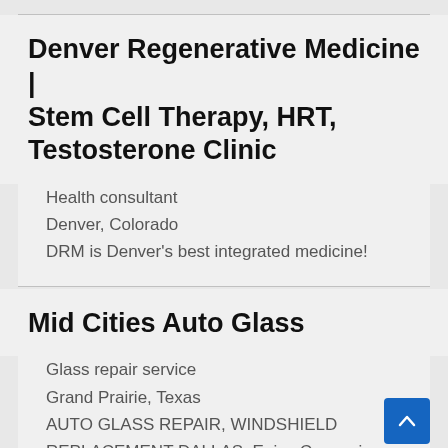Denver Regenerative Medicine | Stem Cell Therapy, HRT, Testosterone Clinic
Health consultant
Denver, Colorado
DRM is Denver's best integrated medicine!
Mid Cities Auto Glass
Glass repair service
Grand Prairie, Texas
AUTO GLASS REPAIR, WINDSHIELD REPLACEMENT DALLAS. Enjoy Convenien…
Mobile Auto Glass Repair and Replacement